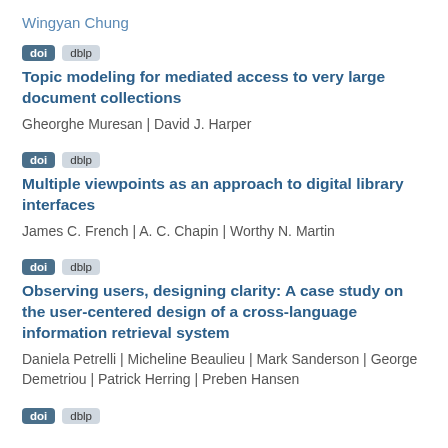Wingyan Chung
doi  dblp
Topic modeling for mediated access to very large document collections
Gheorghe Muresan | David J. Harper
doi  dblp
Multiple viewpoints as an approach to digital library interfaces
James C. French | A. C. Chapin | Worthy N. Martin
doi  dblp
Observing users, designing clarity: A case study on the user-centered design of a cross-language information retrieval system
Daniela Petrelli | Micheline Beaulieu | Mark Sanderson | George Demetriou | Patrick Herring | Preben Hansen
doi  dblp